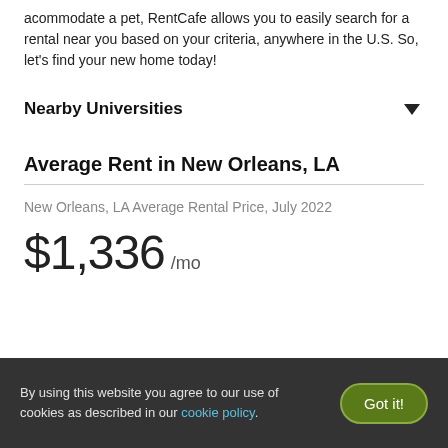acommodate a pet, RentCafe allows you to easily search for a rental near you based on your criteria, anywhere in the U.S. So, let's find your new home today!
Nearby Universities
Average Rent in New Orleans, LA
New Orleans, LA Average Rental Price, July 2022
$1,336 /mo
By using this website you agree to our use of cookies as described in our cookie policy.